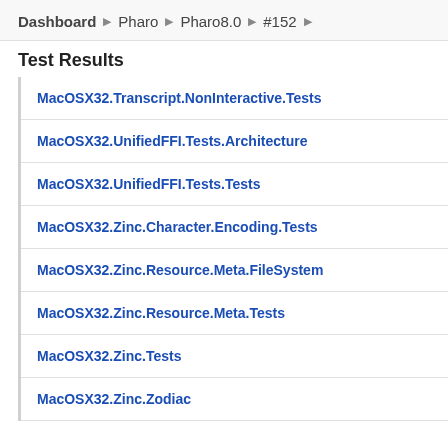Dashboard ▶ Pharo ▶ Pharo8.0 ▶ #152 ▶
Test Results
MacOSX32.Transcript.NonInteractive.Tests
MacOSX32.UnifiedFFI.Tests.Architecture
MacOSX32.UnifiedFFI.Tests.Tests
MacOSX32.Zinc.Character.Encoding.Tests
MacOSX32.Zinc.Resource.Meta.FileSystem
MacOSX32.Zinc.Resource.Meta.Tests
MacOSX32.Zinc.Tests
MacOSX32.Zinc.Zodiac